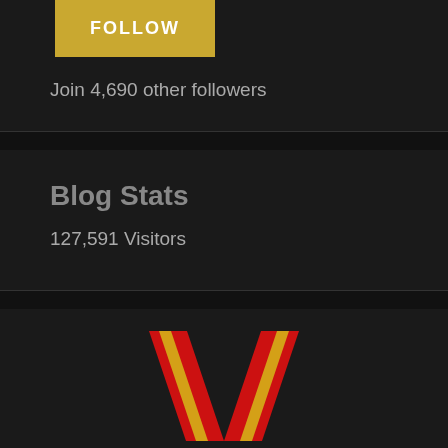FOLLOW
Join 4,690 other followers
Blog Stats
127,591 Visitors
[Figure (logo): Red and gold V-shaped ribbon/medal logo]